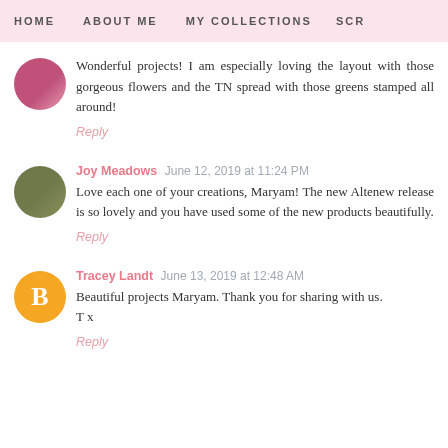HOME   ABOUT ME   MY COLLECTIONS   SCR
Wonderful projects! I am especially loving the layout with those gorgeous flowers and the TN spread with those greens stamped all around!
Reply
Joy Meadows  June 12, 2019 at 11:24 PM
Love each one of your creations, Maryam! The new Altenew release is so lovely and you have used some of the new products beautifully.
Reply
Tracey Landt  June 13, 2019 at 12:48 AM
Beautiful projects Maryam. Thank you for sharing with us.
T x
Reply